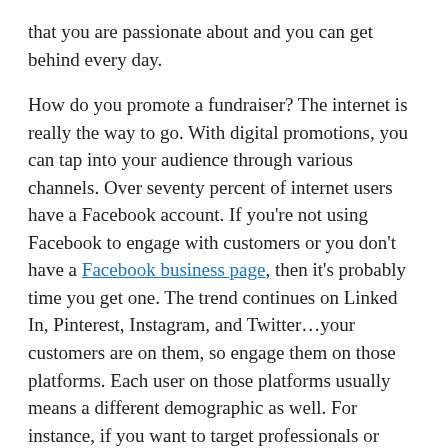that you are passionate about and you can get behind every day.
How do you promote a fundraiser? The internet is really the way to go. With digital promotions, you can tap into your audience through various channels. Over seventy percent of internet users have a Facebook account. If you're not using Facebook to engage with customers or you don't have a Facebook business page, then it's probably time you get one. The trend continues on Linked In, Pinterest, Instagram, and Twitter…your customers are on them, so engage them on those platforms. Each user on those platforms usually means a different demographic as well. For instance, if you want to target professionals or corporate, then Linked In would be your choice. The bigger blanket you can cast or throw with your digital presence the better.
How to execute a fundraiser? First, focus on the details. You have to be meticulous when it comes to